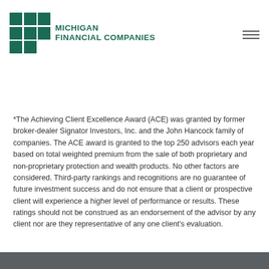[Figure (logo): Michigan Financial Companies logo with a 3x3 green grid and teal text]
*The Achieving Client Excellence Award (ACE) was granted by former broker-dealer Signator Investors, Inc. and the John Hancock family of companies. The ACE award is granted to the top 250 advisors each year based on total weighted premium from the sale of both proprietary and non-proprietary protection and wealth products. No other factors are considered. Third-party rankings and recognitions are no guarantee of future investment success and do not ensure that a client or prospective client will experience a higher level of performance or results. These ratings should not be construed as an endorsement of the advisor by any client nor are they representative of any one client's evaluation.